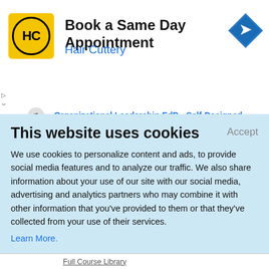[Figure (logo): Hair Cuttery yellow square logo with HC letters in circle]
Book a Same Day Appointment
Hair Cuttery
[Figure (illustration): Blue diamond-shaped navigation arrow icon]
Organizational Leadership EdD - Self-Designed Specialization
Design Your EdD Program to Lead Your Classroom and Beyond.
info.waldenu.edu/Education/Doctorate
This website uses cookies
Accept
We use cookies to personalize content and ads, to provide social media features and to analyze our traffic. We also share information about your use of our site with our social media, advertising and analytics partners who may combine it with other information that you've provided to them or that they've collected from your use of their services.
Learn More.
Full Course Library